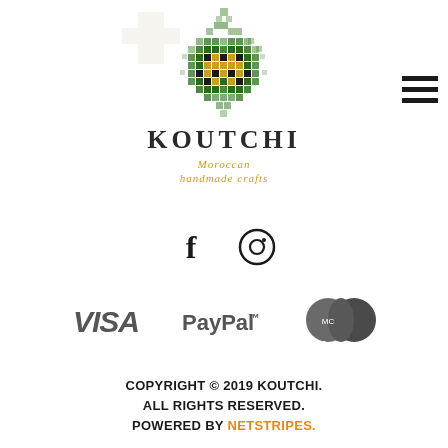[Figure (logo): Koutchi logo with geometric Moroccan mosaic pattern in green, gold, and dark colors, with text 'KOUTCHI' and subtitle 'Moroccan handmade crafts']
[Figure (other): Hamburger menu icon (three horizontal lines)]
[Figure (other): Social media icons: Facebook (f) and Instagram (camera circle)]
[Figure (other): Payment method logos: VISA, PayPal, MasterCard]
COPYRIGHT © 2019 KOUTCHI. ALL RIGHTS RESERVED. POWERED BY NETSTRIPES.